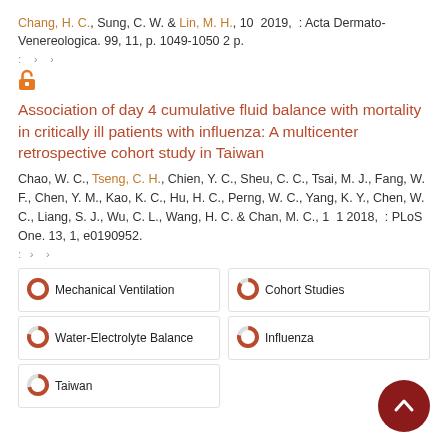Chang, H. C., Sung, C. W. & Lin, M. H., 10 2019, : Acta Dermato-Venereologica. 99, 11, p. 1049-1050 2 p.
: › ›
[Figure (other): Open access icon (orange padlock symbol)]
Association of day 4 cumulative fluid balance with mortality in critically ill patients with influenza: A multicenter retrospective cohort study in Taiwan
Chao, W. C., Tseng, C. H., Chien, Y. C., Sheu, C. C., Tsai, M. J., Fang, W. F., Chen, Y. M., Kao, K. C., Hu, H. C., Perng, W. C., Yang, K. Y., Chen, W. C., Liang, S. J., Wu, C. L., Wang, H. C. & Chan, M. C., 1 1 2018, : PLoS One. 13, 1, e0190952.
: › ›
Mechanical Ventilation
Cohort Studies
Water-Electrolyte Balance
Influenza
Taiwan